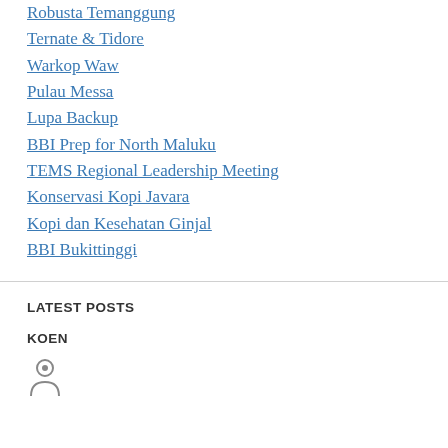Robusta Temanggung
Ternate & Tidore
Warkop Waw
Pulau Messa
Lupa Backup
BBI Prep for North Maluku
TEMS Regional Leadership Meeting
Konservasi Kopi Javara
Kopi dan Kesehatan Ginjal
BBI Bukittinggi
LATEST POSTS
KOEN
[Figure (illustration): Small person/user icon at the bottom of the page]